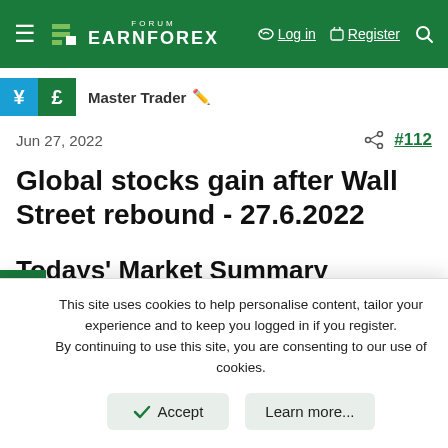FORUM EARNFOREX — Log in | Register
Master Trader
Jun 27, 2022  #112
Global stocks gain after Wall Street rebound - 27.6.2022
Todays' Market Summary
This site uses cookies to help personalise content, tailor your experience and to keep you logged in if you register. By continuing to use this site, you are consenting to our use of cookies.